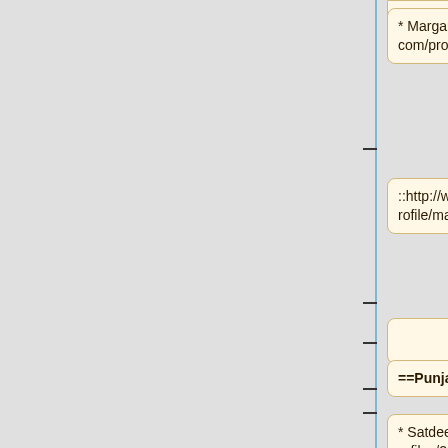(truncated top box)
* Margarida Ferreira http://www.ted.com/profiles/2633052
::http://www.amara.org/en/profiles/profile/margarida_ferreira/
(empty box)
==Punjabi==
* Satdeep Gill http://www.ted.com/profiles/2220406
::http://www.amara.org/en/profil (truncated)